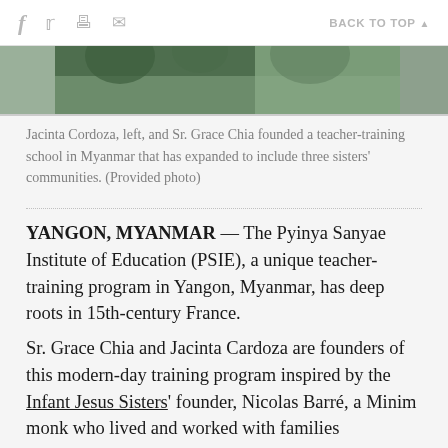f  𝕋  🖶  ✉    BACK TO TOP ▲
[Figure (photo): Partial photo of Jacinta Cordoza and Sr. Grace Chia, cropped showing top of heads with floral background]
Jacinta Cordoza, left, and Sr. Grace Chia founded a teacher-training school in Myanmar that has expanded to include three sisters' communities. (Provided photo)
YANGON, MYANMAR — The Pyinya Sanyae Institute of Education (PSIE), a unique teacher-training program in Yangon, Myanmar, has deep roots in 15th-century France.
Sr. Grace Chia and Jacinta Cardoza are founders of this modern-day training program inspired by the Infant Jesus Sisters' founder, Nicolas Barré, a Minim monk who lived and worked with families barely surviving on the margins of society in Amiens…